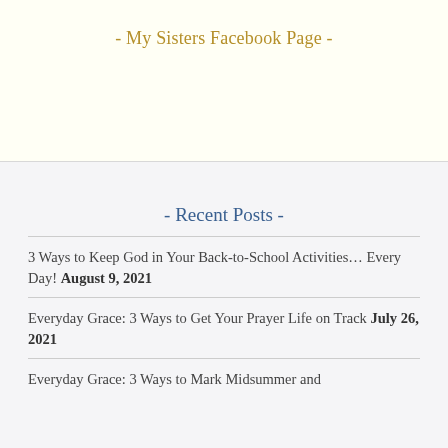- My Sisters Facebook Page -
- Recent Posts -
3 Ways to Keep God in Your Back-to-School Activities… Every Day! August 9, 2021
Everyday Grace: 3 Ways to Get Your Prayer Life on Track July 26, 2021
Everyday Grace: 3 Ways to Mark Midsummer and